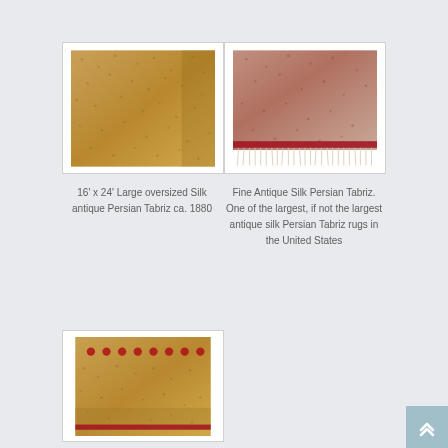[Figure (photo): Close-up photo of a golden/tan colored antique Persian Tabriz silk rug with textured pattern]
[Figure (photo): Close-up photo of a reddish-beige antique silk Persian Tabriz rug with fringe visible at bottom]
16' x 24' Large oversized Silk antique Persian Tabriz ca. 1880
Fine Antique Silk Persian Tabriz. One of the largest, if not the largest antique silk Persian Tabriz rugs in the United States
[Figure (photo): Close-up photo of an antique Persian rug showing golden/tan tones with a row of red medallions near the top]